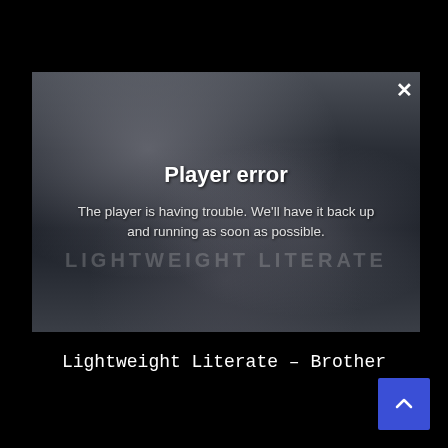[Figure (screenshot): Video player with a dark stormy background showing an error overlay. The player displays a Player error message. A close (X) button is in the top-right corner of the player.]
Player error
The player is having trouble. We'll have it back up and running as soon as possible.
Lightweight Literate - Brother
[Figure (illustration): Blue scroll-to-top button with an upward-pointing chevron arrow in the bottom-right corner of the page.]